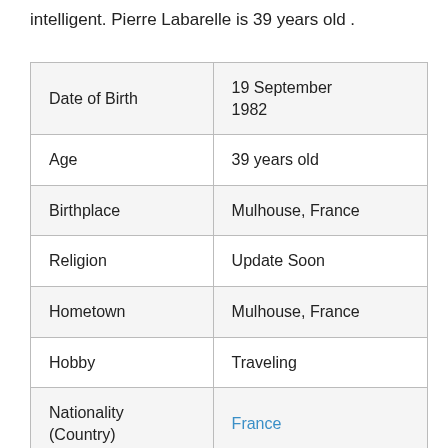intelligent. Pierre Labarelle is 39 years old .
| Date of Birth | 19 September 1982 |
| Age | 39 years old |
| Birthplace | Mulhouse, France |
| Religion | Update Soon |
| Hometown | Mulhouse, France |
| Hobby | Traveling |
| Nationality (Country) | France |
| Zodiac Sign | Virgo |